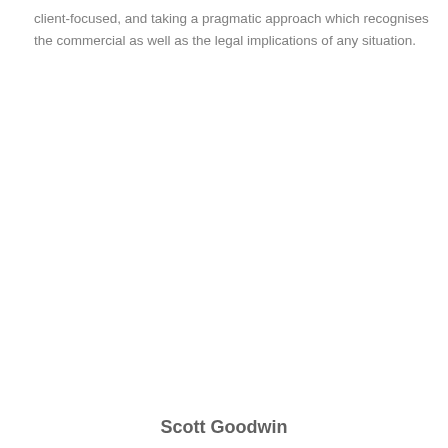client-focused, and taking a pragmatic approach which recognises the commercial as well as the legal implications of any situation.
Scott Goodwin